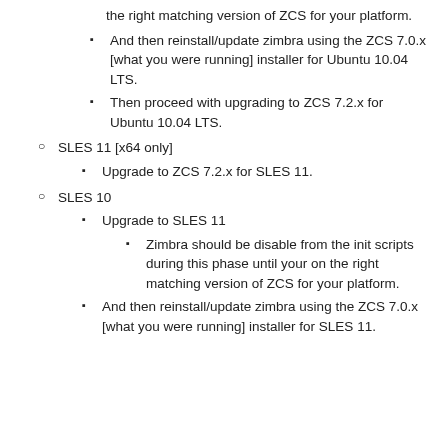the right matching version of ZCS for your platform.
And then reinstall/update zimbra using the ZCS 7.0.x [what you were running] installer for Ubuntu 10.04 LTS.
Then proceed with upgrading to ZCS 7.2.x for Ubuntu 10.04 LTS.
SLES 11 [x64 only]
Upgrade to ZCS 7.2.x for SLES 11.
SLES 10
Upgrade to SLES 11
Zimbra should be disable from the init scripts during this phase until your on the right matching version of ZCS for your platform.
And then reinstall/update zimbra using the ZCS 7.0.x [what you were running] installer for SLES 11.